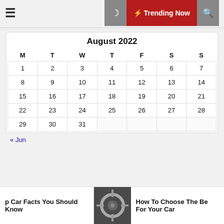≡  🌙  ⚡ Trending Now  🔍
| M | T | W | T | F | S | S |
| --- | --- | --- | --- | --- | --- | --- |
| 1 | 2 | 3 | 4 | 5 | 6 | 7 |
| 8 | 9 | 10 | 11 | 12 | 13 | 14 |
| 15 | 16 | 17 | 18 | 19 | 20 | 21 |
| 22 | 23 | 24 | 25 | 26 | 27 | 28 |
| 29 | 30 | 31 |  |  |  |  |
« Jun
p Car Facts You Should Know
[Figure (photo): Photo of car-related item (brakes/tools)]
How To Choose The Be For Your Car